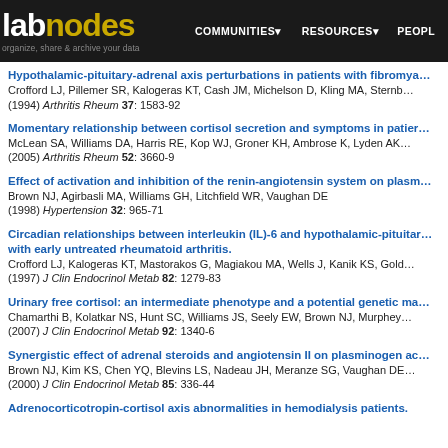labnodes — organize, share & archive your data | COMMUNITIES | RESOURCES | PEOPLE
Hypothalamic-pituitary-adrenal axis perturbations in patients with fibromya… Crofford LJ, Pillemer SR, Kalogeras KT, Cash JM, Michelson D, Kling MA, Sternb… (1994) Arthritis Rheum 37: 1583-92
Momentary relationship between cortisol secretion and symptoms in patier… McLean SA, Williams DA, Harris RE, Kop WJ, Groner KH, Ambrose K, Lyden AK… (2005) Arthritis Rheum 52: 3660-9
Effect of activation and inhibition of the renin-angiotensin system on plasm… Brown NJ, Agirbasli MA, Williams GH, Litchfield WR, Vaughan DE (1998) Hypertension 32: 965-71
Circadian relationships between interleukin (IL)-6 and hypothalamic-pituitar… with early untreated rheumatoid arthritis. Crofford LJ, Kalogeras KT, Mastorakos G, Magiakou MA, Wells J, Kanik KS, Gold… (1997) J Clin Endocrinol Metab 82: 1279-83
Urinary free cortisol: an intermediate phenotype and a potential genetic ma… Chamarthi B, Kolatkar NS, Hunt SC, Williams JS, Seely EW, Brown NJ, Murphey… (2007) J Clin Endocrinol Metab 92: 1340-6
Synergistic effect of adrenal steroids and angiotensin II on plasminogen ac… Brown NJ, Kim KS, Chen YQ, Blevins LS, Nadeau JH, Meranze SG, Vaughan DE… (2000) J Clin Endocrinol Metab 85: 336-44
Adrenocorticotropin-cortisol axis abnormalities in hemodialysis patients.